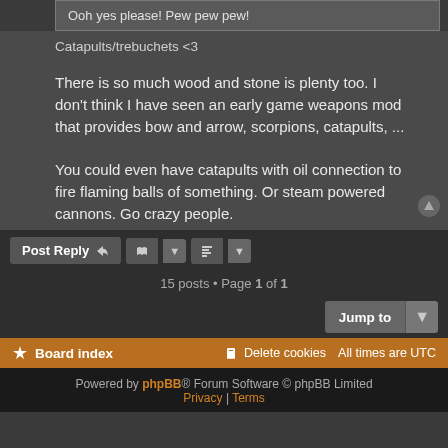Ooh yes please! Pew pew pew!
Catapults/trebuchets <3
There is so much wood and stone is plenty too. I don't think I have seen an early game weapons mod that provides bow and arrow, scorpions, catapults, ...
You could even have catapults with oil connection to fire flaming balls of something. Or steam powered cannons. Go crazy people.
15 posts • Page 1 of 1
Jump to
Board index  Delete cookies  All times are UTC
Powered by phpBB® Forum Software © phpBB Limited  Privacy | Terms